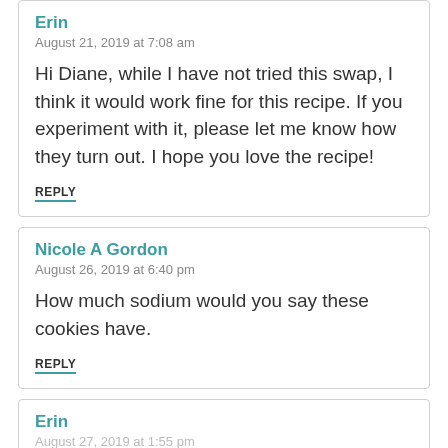Erin
August 21, 2019 at 7:08 am
Hi Diane, while I have not tried this swap, I think it would work fine for this recipe. If you experiment with it, please let me know how they turn out. I hope you love the recipe!
REPLY
Nicole A Gordon
August 26, 2019 at 6:40 pm
How much sodium would you say these cookies have.
REPLY
Erin
August 27, 2019 at 1:55 pm
Hi Nicole! Sodium content can vary so much